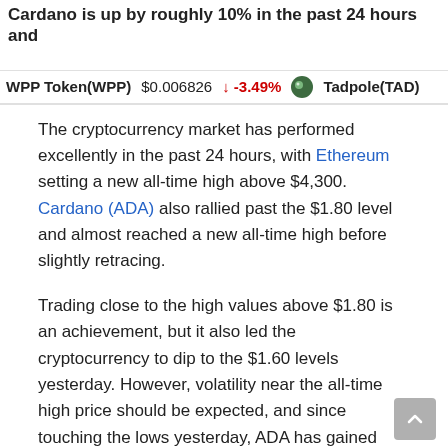Cardano is up by roughly 10% in the past 24 hours and ...
WPP Token(WPP)  $0.006826  ↓ -3.49%  Tadpole(TAD)
The cryptocurrency market has performed excellently in the past 24 hours, with Ethereum setting a new all-time high above $4,300. Cardano (ADA) also rallied past the $1.80 level and almost reached a new all-time high before slightly retracing.
Trading close to the high values above $1.80 is an achievement, but it also led the cryptocurrency to dip to the $1.60 levels yesterday. However, volatility near the all-time high price should be expected, and since touching the lows yesterday, ADA has gained momentum and could set a new all-time high again soon.
There's that important support level in action.
#Cardano $ADA pic.twitter.com/GD70JBrc1x